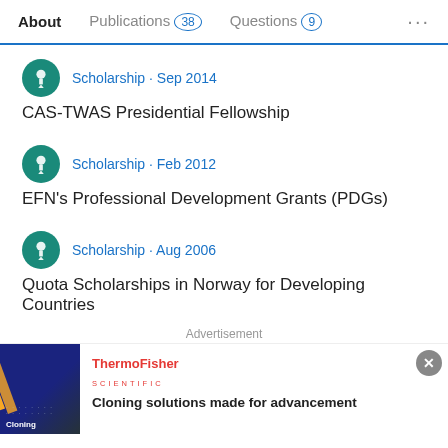About   Publications 38   Questions 9   ...
Scholarship · Sep 2014
CAS-TWAS Presidential Fellowship
Scholarship · Feb 2012
EFN's Professional Development Grants (PDGs)
Scholarship · Aug 2006
Quota Scholarships in Norway for Developing Countries
Advertisement
[Figure (screenshot): ThermoFisher Scientific advertisement banner showing 'Cloning solutions made for advancement' with a dark blue background image and gold diagonal bar element.]